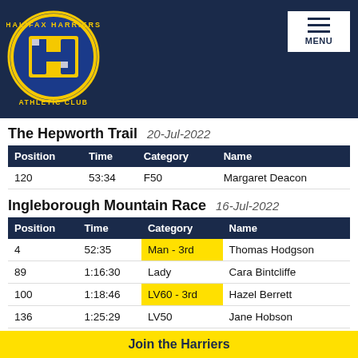[Figure (logo): Halifax Harriers Athletic Club circular logo with blue background and yellow H emblem]
The Hepworth Trail  20-Jul-2022
| Position | Time | Category | Name |
| --- | --- | --- | --- |
| 120 | 53:34 | F50 | Margaret Deacon |
Ingleborough Mountain Race  16-Jul-2022
| Position | Time | Category | Name |
| --- | --- | --- | --- |
| 4 | 52:35 | Man - 3rd | Thomas Hodgson |
| 89 | 1:16:30 | Lady | Cara Bintcliffe |
| 100 | 1:18:46 | LV60 - 3rd | Hazel Berrett |
| 136 | 1:25:29 | LV50 | Jane Hobson |
| 148 | 1:29:29 | MV60 | Paul Hopkinson |
Join the Harriers